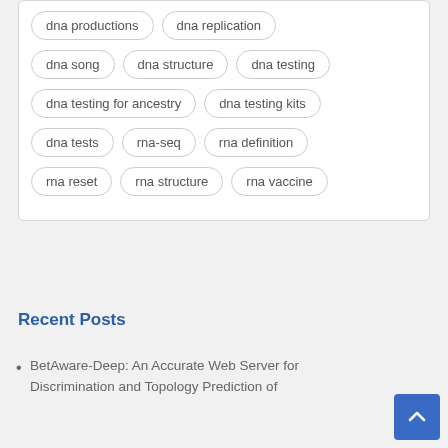dna productions
dna replication
dna song
dna structure
dna testing
dna testing for ancestry
dna testing kits
dna tests
rna-seq
rna definition
rna reset
rna structure
rna vaccine
Recent Posts
BetAware-Deep: An Accurate Web Server for Discrimination and Topology Prediction of